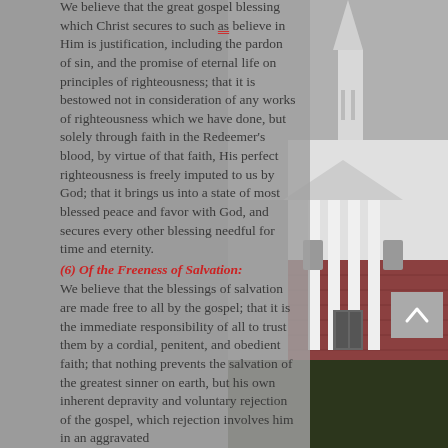We believe that the great gospel blessing which Christ secures to such as believe in Him is justification, including the pardon of sin, and the promise of eternal life on principles of righteousness; that it is bestowed not in consideration of any works of righteousness which we have done, but solely through faith in the Redeemer's blood, by virtue of that faith, His perfect righteousness is freely imputed to us by God; that it brings us into a state of most blessed peace and favor with God, and secures every other blessing needful for time and eternity.
(6) Of the Freeness of Salvation:
We believe that the blessings of salvation are made free to all by the gospel; that it is the immediate responsibility of all to trust them by a cordial, penitent, and obedient faith; that nothing prevents the salvation of the greatest sinner on earth, but his own inherent depravity and voluntary rejection of the gospel, which rejection involves him in an aggravated
[Figure (photo): Photo of a brick church building with white columns and a steeple, viewed from outside with grass in the foreground.]